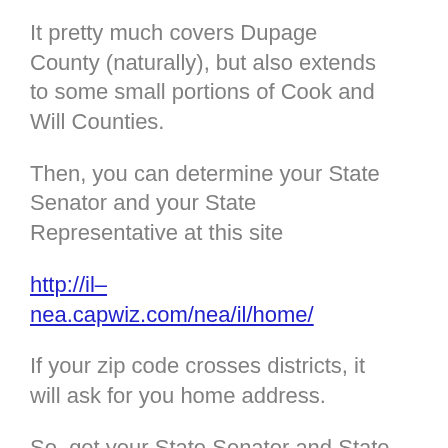It pretty much covers Dupage County (naturally), but also extends to some small portions of Cook and Will Counties.
Then, you can determine your State Senator and your State Representative at this site
http://il–nea.capwiz.com/nea/il/home/
If your zip code crosses districts, it will ask for you home address.
So, get your State Senator and State Representative in and let the